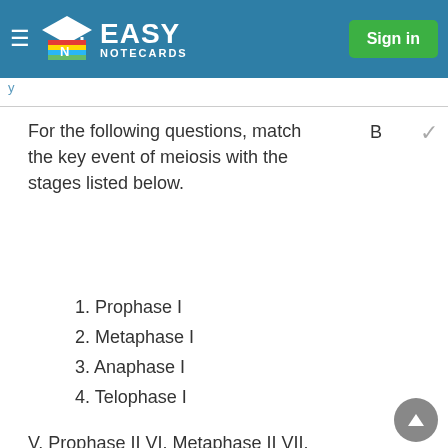EASY NOTECARDS | Sign in
For the following questions, match the key event of meiosis with the stages listed below.
B
1. Prophase I
2. Metaphase I
3. Anaphase I
4. Telophase I
V. Prophase II VI. Metaphase II VII. Anaphase II VIII. Telophase II
Homologous chromosomes are aligned